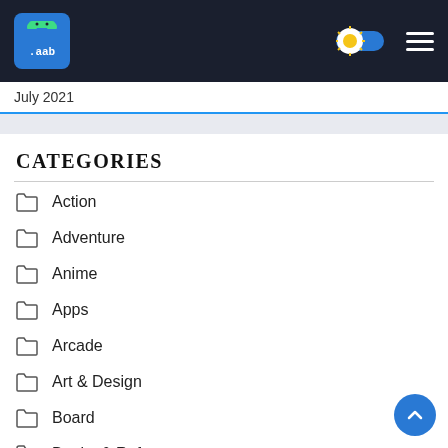Android APK/AAB site header with logo, theme toggle, and hamburger menu
July 2021
CATEGORIES
Action
Adventure
Anime
Apps
Arcade
Art & Design
Board
Books & Reference